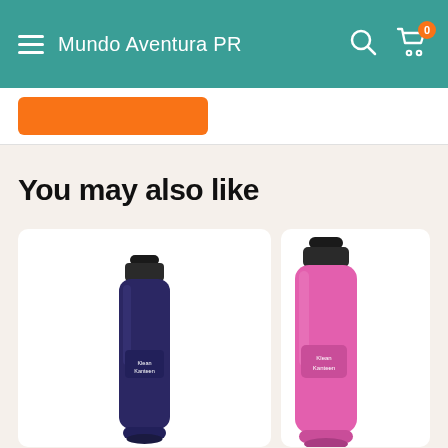Mundo Aventura PR
[Figure (screenshot): E-commerce page header with teal/green background showing hamburger menu, site name 'Mundo Aventura PR', search icon, and cart icon with badge showing 0]
[Figure (other): Orange button (partially visible, cropped)]
You may also like
[Figure (photo): Dark navy/purple Klean Kanteen style insulated travel mug with black lid, shown on white product card background]
[Figure (photo): Pink Klean Kanteen style insulated bottle with black lid, partially visible on right side, cropped at page edge]